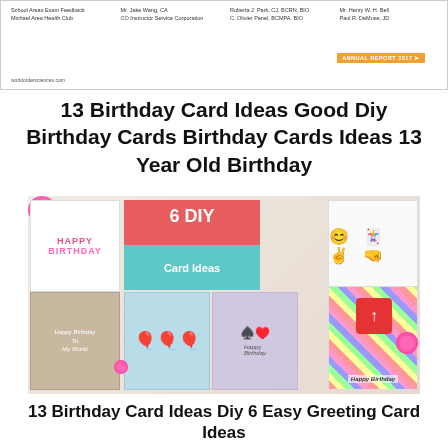[Figure (screenshot): Partial view of a document page showing an annual report snippet with small text columns and an orange 'ANNUAL REPORT 2017' badge, and a URL at the bottom left.]
13 Birthday Card Ideas Good Diy Birthday Cards Birthday Cards Ideas 13 Year Old Birthday
[Figure (photo): Collage photo of 6 DIY birthday card ideas showing colorful handmade cards including a Happy Birthday card, a '6 DIY Card Ideas' banner in red and teal, emoji card, map card, balloon card, poker card, and striped card with pink flowers and decorations.]
13 Birthday Card Ideas Diy 6 Easy Greeting Card Ideas